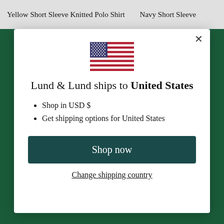Yellow Short Sleeve Knitted Polo Shirt    Navy Short Sleeve
[Figure (illustration): US flag emoji/icon centered in modal dialog]
Lund & Lund ships to United States
Shop in USD $
Get shipping options for United States
Shop now
Change shipping country